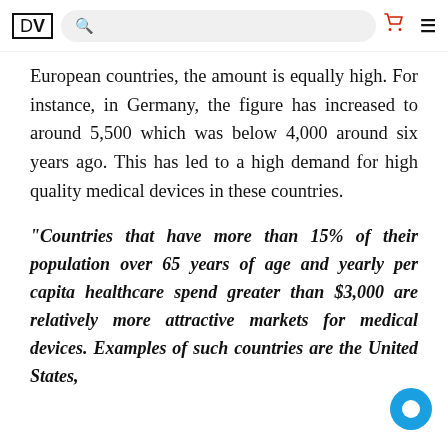DV [logo] [search bar] [cart icon] [menu icon]
European countries, the amount is equally high. For instance, in Germany, the figure has increased to around 5,500 which was below 4,000 around six years ago. This has led to a high demand for high quality medical devices in these countries.
“Countries that have more than 15% of their population over 65 years of age and yearly per capita healthcare spend greater than $3,000 are relatively more attractive markets for medical devices. Examples of such countries are the United States,